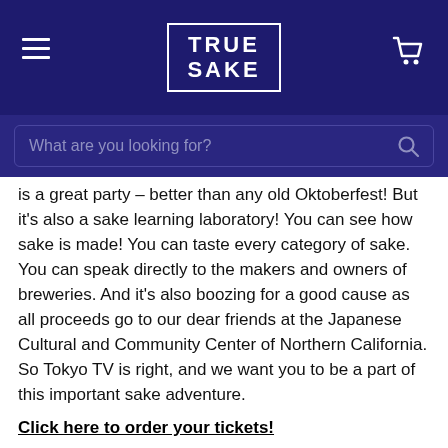TRUE SAKE
is a great party – better than any old Oktoberfest! But it's also a sake learning laboratory! You can see how sake is made! You can taste every category of sake. You can speak directly to the makers and owners of breweries. And it's also boozing for a good cause as all proceeds go to our dear friends at the Japanese Cultural and Community Center of Northern California. So Tokyo TV is right, and we want you to be a part of this important sake adventure.
Click here to order your tickets!
Share: